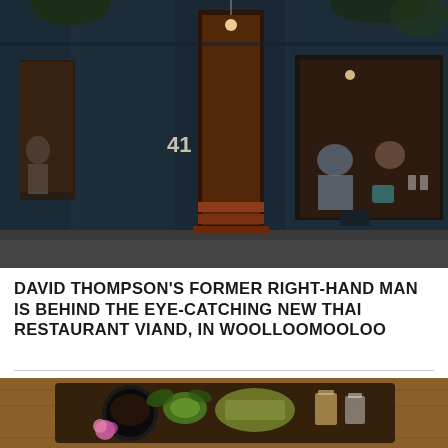[Figure (photo): Exterior facade of restaurant Viand at number 41, dark teal/navy blue painted walls with large windows showing diners inside, open doorway revealing interior with warm lighting and terracotta tile steps]
DAVID THOMPSON'S FORMER RIGHT-HAND MAN IS BEHIND THE EYE-CATCHING NEW THAI RESTAURANT VIAND, IN WOOLLOOMOOLOO
[Figure (photo): Close-up of Thai food dish on a wooden board/tray, featuring a black bowl with dark sauce, avocado, pink flower garnish, salad with herbs, and small glasses with drinks]